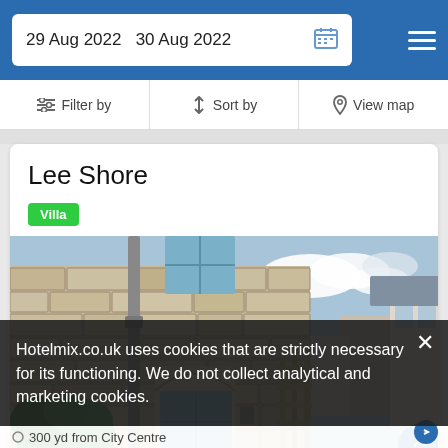29 Aug 2022   30 Aug 2022
Filter by   Sort by   View map
Lee Shore
Villa
[Figure (photo): Exterior photo of Lee Shore property, a stone-walled building with blue-framed windows and door, green shrub, wooden fence, and partly cloudy sky]
Hotelmix.co.uk uses cookies that are strictly necessary for its functioning. We do not collect analytical and marketing cookies.
300 yd from City Centre